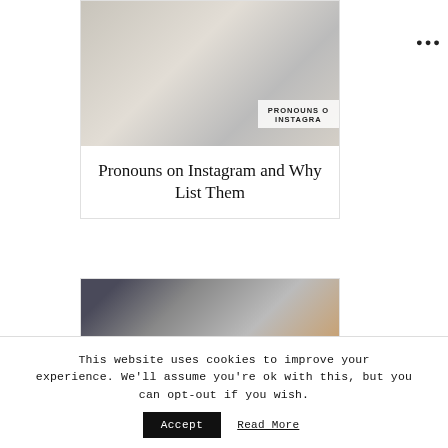[Figure (photo): Blog post card image showing a person with a succulent plant and text overlay reading PRONOUNS ON INSTAGRAM]
Pronouns on Instagram and Why List Them
[Figure (photo): Blog post card image showing photography gear including a camera, hashtag symbol, and accessories]
This website uses cookies to improve your experience. We'll assume you're ok with this, but you can opt-out if you wish. Accept Read More